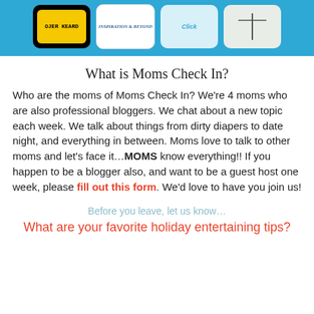[Figure (other): Banner with blue background showing four blog/website logos in rounded rectangle boxes]
What is Moms Check In?
Who are the moms of Moms Check In? We're 4 moms who are also professional bloggers. We chat about a new topic each week. We talk about things from dirty diapers to date night, and everything in between. Moms love to talk to other moms and let's face it…MOMS know everything!! If you happen to be a blogger also, and want to be a guest host one week, please fill out this form. We'd love to have you join us!
Before you leave, let us know…
What are your favorite holiday entertaining tips?